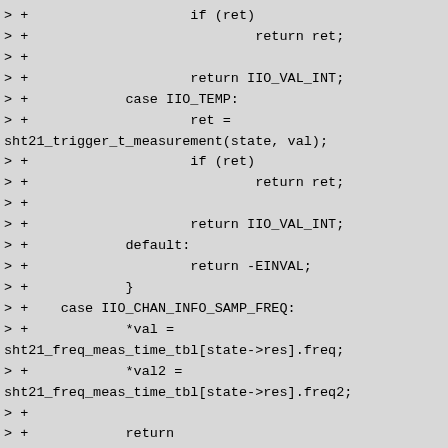> +                    if (ret)
> +                            return ret;
> +
> +                    return IIO_VAL_INT;
> +            case IIO_TEMP:
> +                    ret =
sht21_trigger_t_measurement(state, val);
> +                    if (ret)
> +                            return ret;
> +
> +                    return IIO_VAL_INT;
> +            default:
> +                    return -EINVAL;
> +            }
> +    case IIO_CHAN_INFO_SAMP_FREQ:
> +            *val =
sht21_freq_meas_time_tbl[state->res].freq;
> +            *val2 =
sht21_freq_meas_time_tbl[state->res].freq2;
> +
> +            return
IIO_VAL_INT_PLUS_MICRO;
> +    default:
> +            return -EINVAL;
> +    }